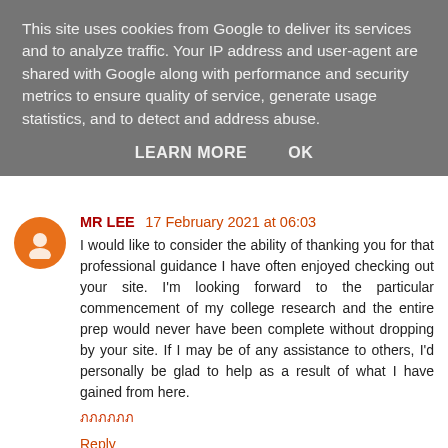This site uses cookies from Google to deliver its services and to analyze traffic. Your IP address and user-agent are shared with Google along with performance and security metrics to ensure quality of service, generate usage statistics, and to detect and address abuse.
LEARN MORE    OK
MR LEE  17 February 2021 at 06:03
I would like to consider the ability of thanking you for that professional guidance I have often enjoyed checking out your site. I'm looking forward to the particular commencement of my college research and the entire prep would never have been complete without dropping by your site. If I may be of any assistance to others, I'd personally be glad to help as a result of what I have gained from here.
Reply
web create  17 February 2021 at 12:06